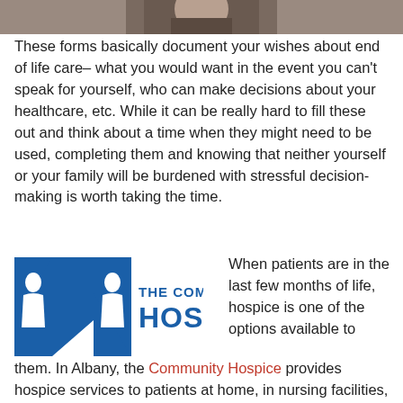[Figure (photo): Partial photo strip at top of page showing a person, cropped]
These forms basically document your wishes about end of life care– what you would want in the event you can't speak for yourself, who can make decisions about your healthcare, etc. While it can be really hard to fill these out and think about a time when they might need to be used, completing them and knowing that neither yourself or your family will be burdened with stressful decision-making is worth taking the time.
[Figure (logo): The Community Hospice logo — large blue stylized letter N with two figures inside, text 'THE COMMUNITY HOSPICE' in blue]
When patients are in the last few months of life, hospice is one of the options available to them. In Albany, the Community Hospice provides hospice services to patients at home, in nursing facilities,